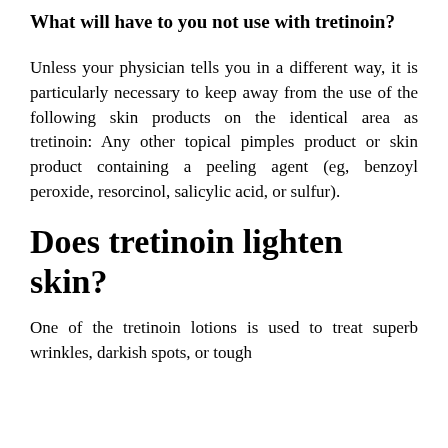What will have to you not use with tretinoin?
Unless your physician tells you in a different way, it is particularly necessary to keep away from the use of the following skin products on the identical area as tretinoin: Any other topical pimples product or skin product containing a peeling agent (eg, benzoyl peroxide, resorcinol, salicylic acid, or sulfur).
Does tretinoin lighten skin?
One of the tretinoin lotions is used to treat superb wrinkles, darkish spots, or tough